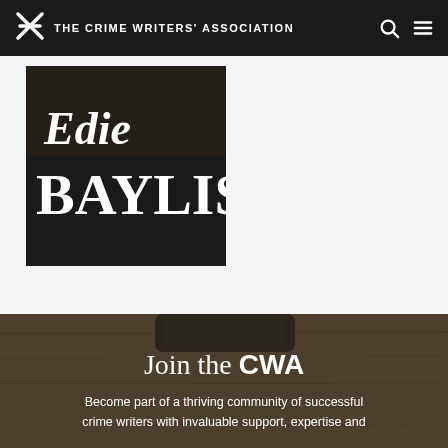THE CRIME WRITERS' ASSOCIATION
[Figure (illustration): Book cover for 'Finders Keepers' by Edie Baylis — black background with large white serif text]
Finders Keepers
Buy on Amazon
[Figure (photo): Background photo of a wooden surface with a device, used as background for the 'Join the CWA' section]
Join the CWA
Become part of a thriving community of successful crime writers with invaluable support, expertise and